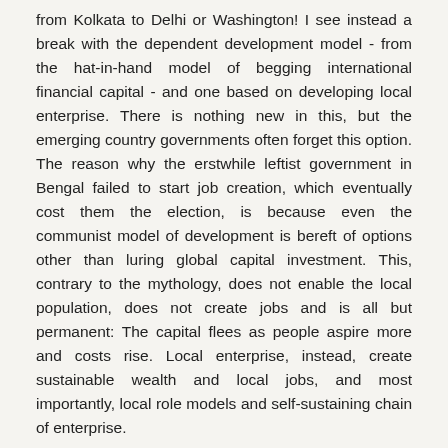from Kolkata to Delhi or Washington! I see instead a break with the dependent development model - from the hat-in-hand model of begging international financial capital - and one based on developing local enterprise. There is nothing new in this, but the emerging country governments often forget this option. The reason why the erstwhile leftist government in Bengal failed to start job creation, which eventually cost them the election, is because even the communist model of development is bereft of options other than luring global capital investment. This, contrary to the mythology, does not enable the local population, does not create jobs and is all but permanent: The capital flees as people aspire more and costs rise. Local enterprise, instead, create sustainable wealth and local jobs, and most importantly, local role models and self-sustaining chain of enterprise.
I know Kolkata isn't ready now: Such enterprise revolution needs a quad - business, government, academia and civil